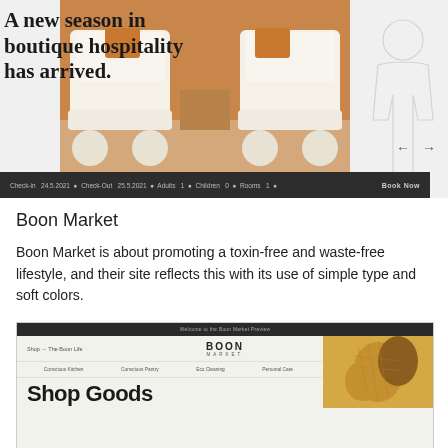[Figure (screenshot): Screenshot of a boutique hotel website with text 'A new season in boutique hospitality has arrived.' overlaid on a photo of modern chairs, with a booking bar at the bottom showing Check-in 24.5.2021, Check-Out 25.5.2021, Adults 1, Children 0, Rooms 1, and a Book Now button.]
Boon Market
Boon Market is about promoting a toxin-free and waste-free lifestyle, and their site reflects this with its use of simple type and soft colors.
[Figure (screenshot): Screenshot of the Boon Market website showing the BOON MARKET logo, navigation with Shop, The Boon Life, category links (Conscious Kitchen, Conscious Pantry, Eco Cleaning, Personal Care, Bags & Totes, Gifts), product imagery, and 'Shop Goods' heading.]